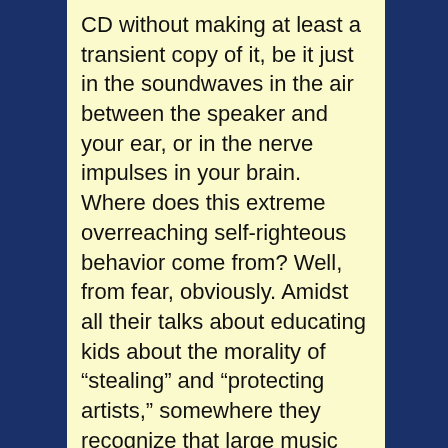CD without making at least a transient copy of it, be it just in the soundwaves in the air between the speaker and your ear, or in the nerve impulses in your brain. Where does this extreme overreaching self-righteous behavior come from? Well, from fear, obviously. Amidst all their talks about educating kids about the morality of “stealing” and “protecting artists,” somewhere they recognize that large music publishing companies are fundamentally obsolete given modern technology, and like any frightened and unintelligent animal whose cornered, they’re lashing out viciously in any direction they think they can hit.
The mistake many of the rest of us make is by taking them seriously enough to allow them